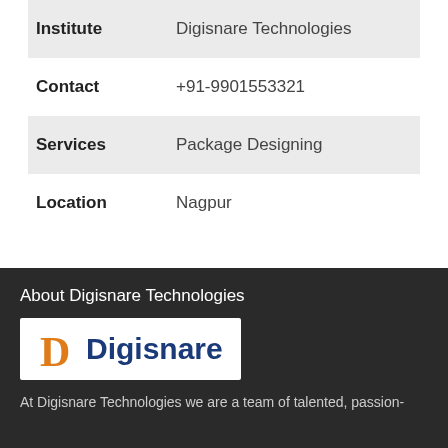| Field | Value |
| --- | --- |
| Institute | Digisnare Technologies |
| Contact | +91-9901553321 |
| Services | Package Designing |
| Location | Nagpur |
About Digisnare Technologies
[Figure (logo): Digisnare logo with orange D and blue text 'Digisnare']
At Digisnare Technologies we are a team of talented, passion-